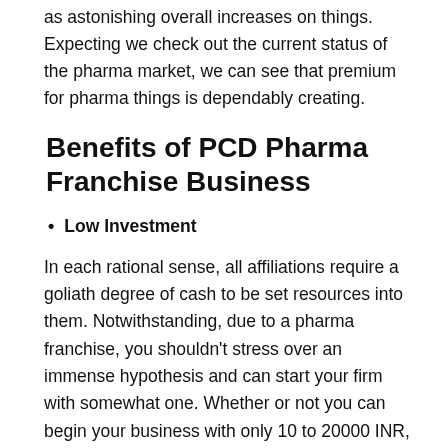as astonishing overall increases on things. Expecting we check out the current status of the pharma market, we can see that premium for pharma things is dependably creating.
Benefits of PCD Pharma Franchise Business
Low Investment
In each rational sense, all affiliations require a goliath degree of cash to be set resources into them. Notwithstanding, due to a pharma franchise, you shouldn't stress over an immense hypothesis and can start your firm with somewhat one. Whether or not you can begin your business with only 10 to 20000 INR, which might send an impression of being less for a pharma franchise business, it is reality.